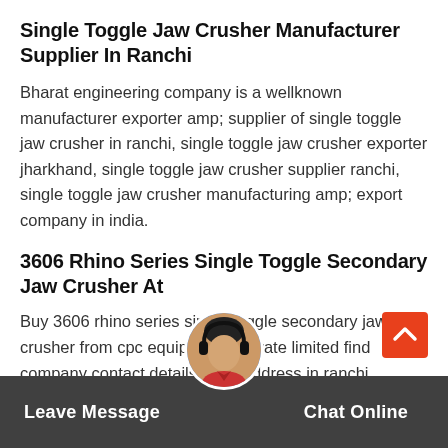Single Toggle Jaw Crusher Manufacturer Supplier In Ranchi
Bharat engineering company is a wellknown manufacturer exporter amp; supplier of single toggle jaw crusher in ranchi, single toggle jaw crusher exporter jharkhand, single toggle jaw crusher supplier ranchi, single toggle jaw crusher manufacturing amp; export company in india.
3606 Rhino Series Single Toggle Secondary Jaw Crusher At
Buy 3606 rhino series single toggle secondary jaw crusher from cpc equipments private limited find company contact details amp; address in ranchi, jharkhand | id: 5484167.
Leave Message  Chat Online  Double Toggle Jaw Crusher, Voltage : 220 360 V